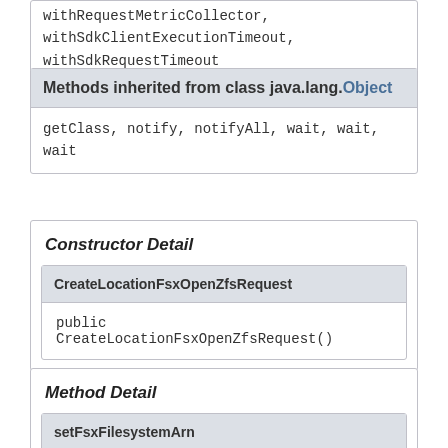withRequestMetricCollector, withSdkClientExecutionTimeout, withSdkRequestTimeout
Methods inherited from class java.lang.Object
getClass, notify, notifyAll, wait, wait, wait
Constructor Detail
CreateLocationFsxOpenZfsRequest
public CreateLocationFsxOpenZfsRequest()
Method Detail
setFsxFilesystemArn